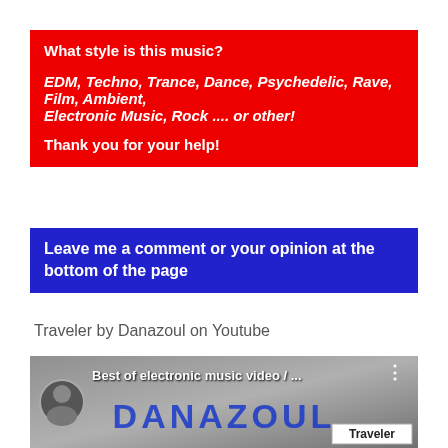What style is this music?

EDM, Techno, Trance, Dance, Psychedelic, Rave, Film, Ambient, Electronic Music, Rock .... or other!

Thank you for your help!
Leave me a comment or your opinion at the bottom of the page
Traveler by Danazoul on Youtube
[Figure (screenshot): YouTube video thumbnail showing 'Best of electronic music video / ...' with Danazoul channel logo and avatar, large DANAZOUL text, and 'Traveler' label in bottom right corner]